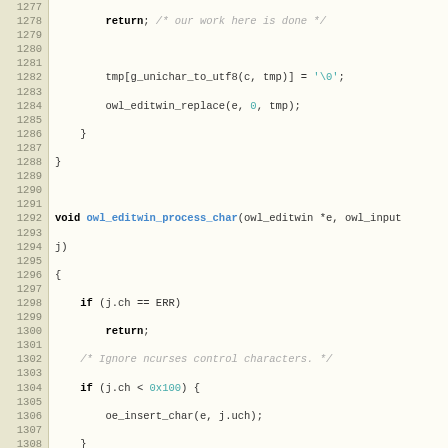[Figure (screenshot): Source code listing in C showing functions owl_editwin_process_char, owl_editwin_get_text, and owl_editwin_get_region, with line numbers 1277-1308 displayed in a code editor style view]